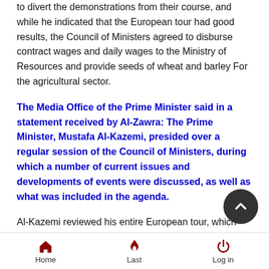to divert the demonstrations from their course, and while he indicated that the European tour had good results, the Council of Ministers agreed to disburse contract wages and daily wages to the Ministry of Resources and provide seeds of wheat and barley For the agricultural sector.
The Media Office of the Prime Minister said in a statement received by Al-Zawra: The Prime Minister, Mustafa Al-Kazemi, presided over a regular session of the Council of Ministers, during which a number of current issues and developments of events were discussed, as well as what was included in the agenda.
Al-Kazemi reviewed his entire European tour, which included France, Germany and Britain, and the results of the visit, which helped strengthen Iraq's foreign relations and expand the horizons of cooperation with it in various fields and levels.
Home   Last   Log in